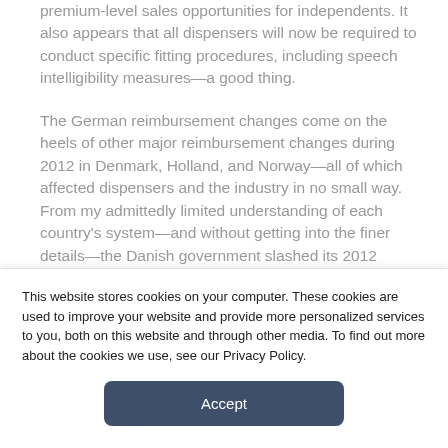premium-level sales opportunities for independents. It also appears that all dispensers will now be required to conduct specific fitting procedures, including speech intelligibility measures—a good thing.
The German reimbursement changes come on the heels of other major reimbursement changes during 2012 in Denmark, Holland, and Norway—all of which affected dispensers and the industry in no small way. From my admittedly limited understanding of each country's system—and without getting into the finer details—the Danish government slashed its 2012
This website stores cookies on your computer. These cookies are used to improve your website and provide more personalized services to you, both on this website and through other media. To find out more about the cookies we use, see our Privacy Policy.
Accept